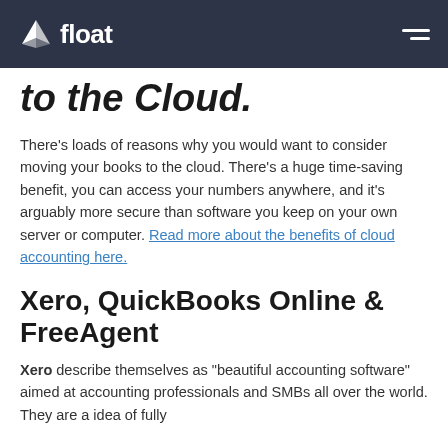float
to the Cloud.
There's loads of reasons why you would want to consider moving your books to the cloud. There's a huge time-saving benefit, you can access your numbers anywhere, and it's arguably more secure than software you keep on your own server or computer. Read more about the benefits of cloud accounting here.
Xero, QuickBooks Online & FreeAgent
Xero describe themselves as "beautiful accounting software" aimed at accounting professionals and SMBs all over the world. They are a idea of fully…